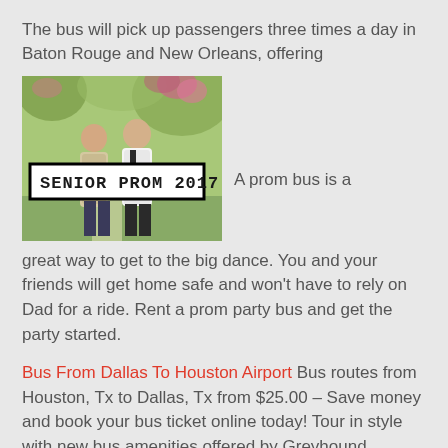The bus will pick up passengers three times a day in Baton Rouge and New Orleans, offering
[Figure (photo): A couple dressed for prom standing in a garden with flowers, with a banner overlay reading SENIOR PROM 2017]
A prom bus is a great way to get to the big dance. You and your friends will get home safe and won't have to rely on Dad for a ride. Rent a prom party bus and get the party started.
Bus From Dallas To Houston Airport Bus routes from Houston, Tx to Dallas, Tx from $25.00 – Save money and book your bus ticket online today! Tour in style with new bus amenities offered by Greyhound. ... Houston to Dallas $ 31.00 starting at* Book Now. Monday 03/18/2019. Houston to Dallas $ 25.00